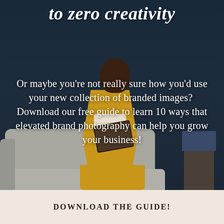to zero creativity
[Figure (photo): A woman in a yellow suit sitting on a grey couch looking at a tablet, against a dark navy background with a side table and books.]
Or maybe you're not really sure how you'd use your new collection of branded images?  Download our free guide to learn 10 ways that elevated brand photography can help you grow your business!
DOWNLOAD THE GUIDE!